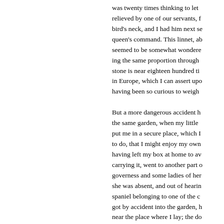was twenty times thinking to let relieved by one of our servants, f bird's neck, and I had him next s queen's command. This linnet, ab seemed to be somewhat wondere ing the same proportion through stone is near eighteen hundred ti in Europe, which I can assert upo having been so curious to weigh

But a more dangerous accident h the same garden, when my little put me in a secure place, which I to do, that I might enjoy my own having left my box at home to av carrying it, went to another part o governess and some ladies of her she was absent, and out of hearin spaniel belonging to one of the c got by accident into the garden, h near the place where I lay; the do came directly up, and taking me straight to his master, wagging h gently on the ground. By good fo